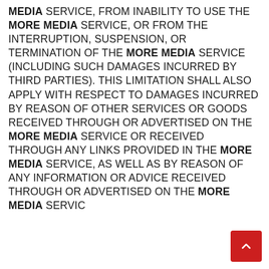MEDIA SERVICE, FROM INABILITY TO USE THE MORE MEDIA SERVICE, OR FROM THE INTERRUPTION, SUSPENSION, OR TERMINATION OF THE MORE MEDIA SERVICE (INCLUDING SUCH DAMAGES INCURRED BY THIRD PARTIES). THIS LIMITATION SHALL ALSO APPLY WITH RESPECT TO DAMAGES INCURRED BY REASON OF OTHER SERVICES OR GOODS RECEIVED THROUGH OR ADVERTISED ON THE MORE MEDIA SERVICE OR RECEIVED THROUGH ANY LINKS PROVIDED IN THE MORE MEDIA SERVICE, AS WELL AS BY REASON OF ANY INFORMATION OR ADVICE RECEIVED THROUGH OR ADVERTISED ON THE MORE MEDIA SERVICE